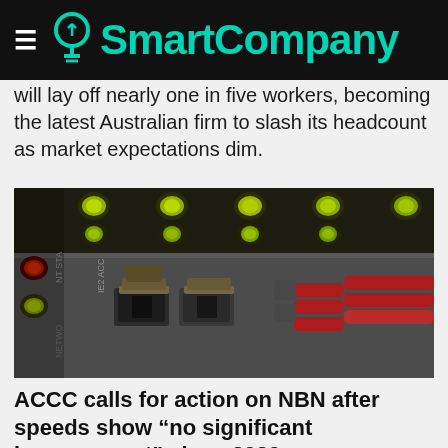SmartCompany
will lay off nearly one in five workers, becoming the latest Australian firm to slash its headcount as market expectations dim.
[Figure (photo): Close-up photo of network equipment showing ethernet cables plugged into a switch/router with green indicator lights visible on the panel above.]
ACCC calls for action on NBN after speeds show “no significant improvement” since 2020